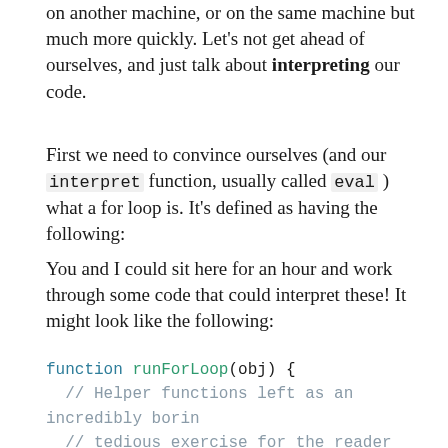on another machine, or on the same machine but much more quickly. Let's not get ahead of ourselves, and just talk about interpreting our code.
First we need to convince ourselves (and our interpret function, usually called eval ) what a for loop is. It's defined as having the following:
You and I could sit here for an hour and work through some code that could interpret these! It might look like the following:
function runForLoop(obj) {
  // Helper functions left as an incredibly borin
  // tedious exercise for the reader

  let currVal = buildInit(obj.init);
  let test = buildTest(obj.test);

  while (test(currVal)) {
    runBody(obj.body);
    currVal = runUpdate(currVal, obj.update);